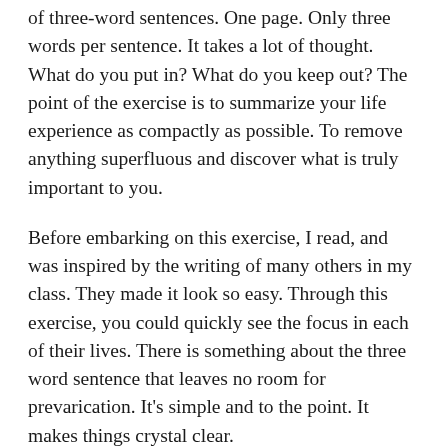of three-word sentences. One page. Only three words per sentence. It takes a lot of thought. What do you put in? What do you keep out? The point of the exercise is to summarize your life experience as compactly as possible. To remove anything superfluous and discover what is truly important to you.
Before embarking on this exercise, I read, and was inspired by the writing of many others in my class. They made it look so easy. Through this exercise, you could quickly see the focus in each of their lives. There is something about the three word sentence that leaves no room for prevarication. It's simple and to the point. It makes things crystal clear.
But when I compressed my own life into a single page of three word sentences, I was struck by how sad it was. The previous decade of my life has been filled with mountains of all sizes. Lots of climbing. Lots of sorrow. There were plenty of times when everything seemed completely lost. Hadn't I reached